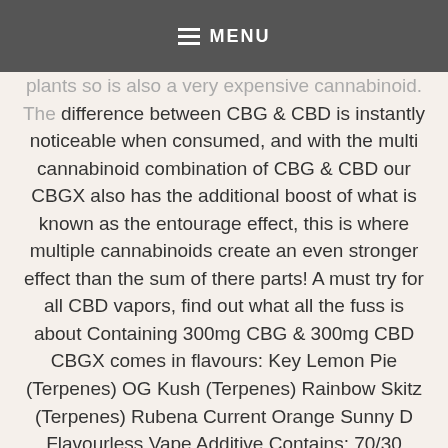MENU
plants so is also a very expensive cannabinoid. The difference between CBG & CBD is instantly noticeable when consumed, and with the multi cannabinoid combination of CBG & CBD our CBGX also has the additional boost of what is known as the entourage effect, this is where multiple cannabinoids create an even stronger effect than the sum of there parts! A must try for all CBD vapors, find out what all the fuss is about Containing 300mg CBG & 300mg CBD CBGX comes in flavours: Key Lemon Pie (Terpenes) OG Kush (Terpenes) Rainbow Skitz (Terpenes) Rubena Current Orange Sunny D Flavourless Vape Additive Contains: 70/30 PG/VG Cannabigorol Cannabidiol Flavours & Terpenes 10ml Advanced multi cannabinoid formula We take great pride in our customer service and secure delivery. Got a question? Get in touch! We'd be happy to help.